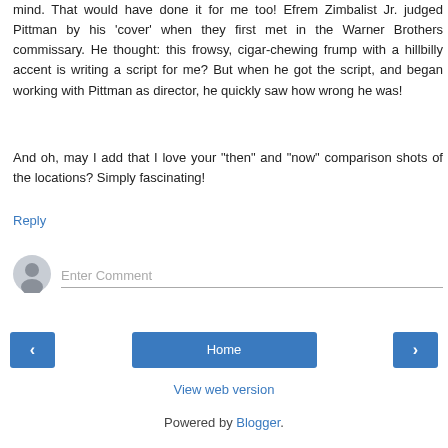mind. That would have done it for me too! Efrem Zimbalist Jr. judged Pittman by his 'cover' when they first met in the Warner Brothers commissary. He thought: this frowsy, cigar-chewing frump with a hillbilly accent is writing a script for me? But when he got the script, and began working with Pittman as director, he quickly saw how wrong he was!
And oh, may I add that I love your "then" and "now" comparison shots of the locations? Simply fascinating!
Reply
[Figure (other): User avatar icon - grey silhouette of a person in a circle]
Enter Comment
< (previous navigation button)
Home
> (next navigation button)
View web version
Powered by Blogger.